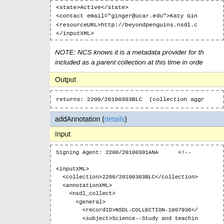<state>Active</state>
<contact email="ginger@ucar.edu">Katy Gin
<resourceURL>http://beyondpenguins.nsdl.c
</inputXML>
NOTE: NCS knows it is a metadata provider for th included as a parent collection at this time in orde
Output
returns: 2200/20100303BLC  (collection aggr
addAnnotation (details)
Input
Signing Agent: 2200/20100301ANA       <!--

<inputXML>
  <collection>2200/20100303BLC</collection>
  <annotationXML>
    <nsdl_collect>
      <general>
        <recordID>NSDL-COLLECTION-1007936</
        <subject>Science--Study and teachin
        <subject>Mathematics--Study and tea
        <subject>Technology education</subj
        <languages>
          <ISOcode>eng</ISOcode>
          <RFCcode>en</RFCcode>
        </languages>